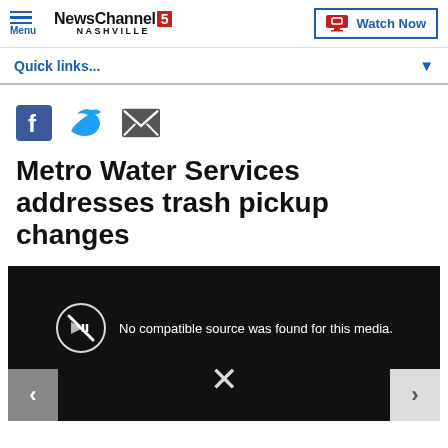Menu | NewsChannel 5 NASHVILLE | Watch Now
Quick links...
[Figure (screenshot): Social share icons: Facebook, Twitter, Email]
Metro Water Services addresses trash pickup changes
[Figure (screenshot): Video player showing 'No compatible source was found for this media.' with navigation arrows and X mark]